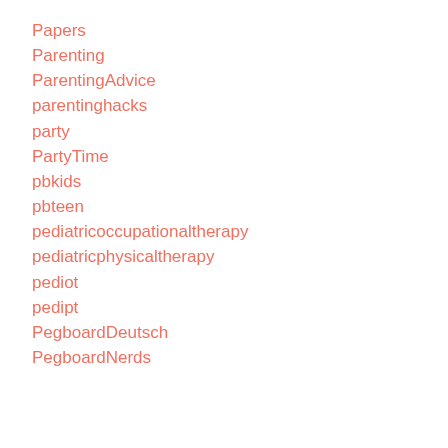Papers
Parenting
ParentingAdvice
parentinghacks
party
PartyTime
pbkids
pbteen
pediatricoccupationaltherapy
pediatricphysicaltherapy
pediot
pedipt
PegboardDeutsch
PegboardNerds